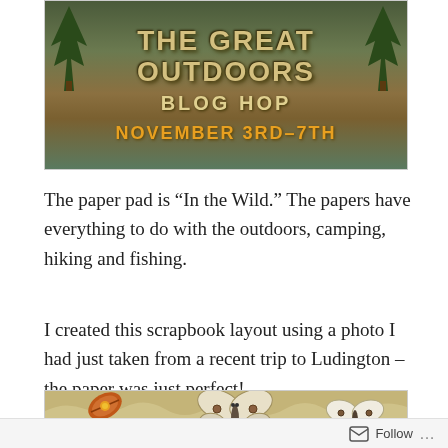[Figure (photo): The Great Outdoors Blog Hop sign on a wooden background with text 'THE GREAT OUTDOORS BLOG HOP NOVEMBER 3RD-7TH'. The sign has trees on either side and the date is shown in orange/yellow text.]
The paper pad is “In the Wild.” The papers have everything to do with the outdoors, camping, hiking and fishing.
I created this scrapbook layout using a photo I had just taken from a recent trip to Ludington – the paper was just perfect!
[Figure (photo): A scrapbook layout showing nature-themed decorations including a leaf with a yellow center and butterfly/moth embellishments on a textured tan/olive green background.]
Follow